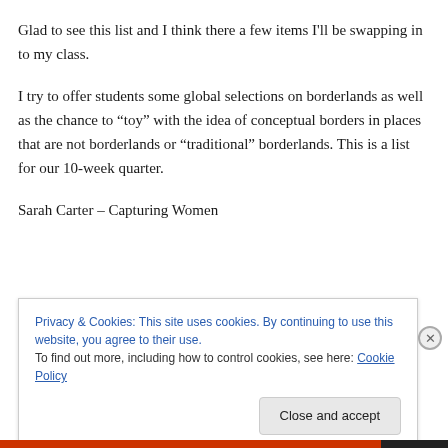Glad to see this list and I think there a few items I'll be swapping in to my class.
I try to offer students some global selections on borderlands as well as the chance to "toy" with the idea of conceptual borders in places that are not borderlands or "traditional" borderlands. This is a list for our 10-week quarter.
Sarah Carter – Capturing Women
Privacy & Cookies: This site uses cookies. By continuing to use this website, you agree to their use. To find out more, including how to control cookies, see here: Cookie Policy